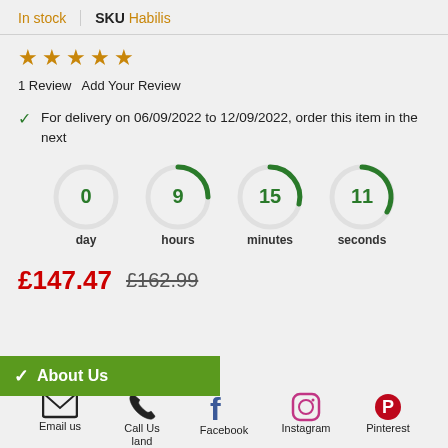In stock   SKU Habilis
★★★★★
1 Review   Add Your Review
For delivery on 06/09/2022 to 12/09/2022, order this item in the next
[Figure (infographic): Countdown timer showing 0 day, 9 hours, 15 minutes, 11 seconds with circular progress indicators]
£147.47   £162.99
About Us
[Figure (infographic): Footer social media icons: Email us, Call Us land, Facebook, Instagram, Pinterest, Youtube, Blog]